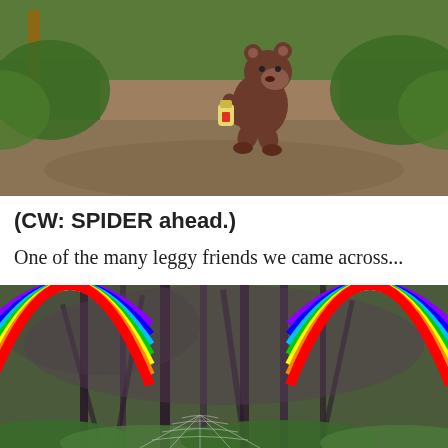[Figure (photo): A cartoon brown bear running and carrying something, overlaid on a photo of a park path with dirt ground and green bushes. Rainbow arcs visible in bottom-left and bottom-right corners of the image.]
(CW: SPIDER ahead.)
One of the many leggy friends we came across...
[Figure (photo): A blurry close-up photo of ferns and dark plant stems in a garden, with a spider web visible at the bottom. Rainbow arcs visible in the top-left and top-right corners of the image.]